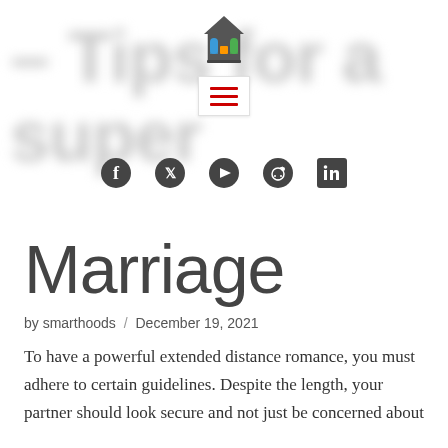[Figure (logo): Smarthoods logo — colorful building/house icon with test tubes]
[Figure (other): Hamburger menu icon with three red horizontal lines on white background with border]
[Figure (other): Social media icons row: Facebook, Twitter, YouTube, Reddit, LinkedIn]
Marriage
by smarthoods / December 19, 2021
To have a powerful extended distance romance, you must adhere to certain guidelines. Despite the length, your partner should look secure and not just be concerned about